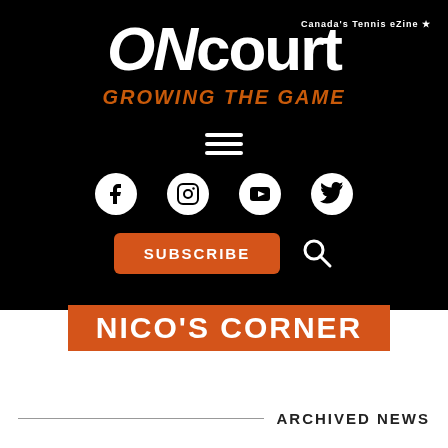[Figure (logo): ONcourt logo with tagline 'Canada's Tennis eZine' on black background, large bold white text 'ONcourt' with italic ON, and orange italic text 'GROWING THE GAME' below]
[Figure (infographic): Hamburger menu icon (three white horizontal lines) on black background]
[Figure (infographic): Social media icons row: Facebook, Instagram, YouTube, Twitter (white circles on black)]
[Figure (infographic): Orange SUBSCRIBE button and white search magnifying glass icon]
NICO'S CORNER
ARCHIVED NEWS